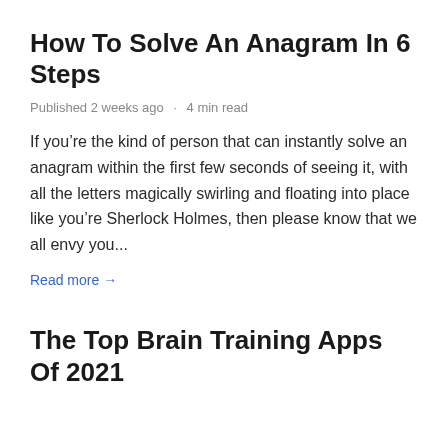How To Solve An Anagram In 6 Steps
Published 2 weeks ago · 4 min read
If you’re the kind of person that can instantly solve an anagram within the first few seconds of seeing it, with all the letters magically swirling and floating into place like you’re Sherlock Holmes, then please know that we all envy you...
Read more →
The Top Brain Training Apps Of 2021